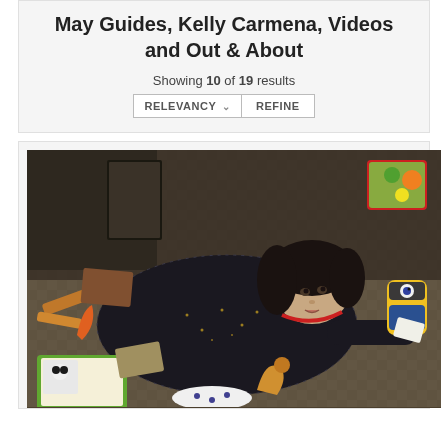May Guides, Kelly Carmena, Videos and Out & About
Showing 10 of 19 results
RELEVANCY ∨   REFINE
[Figure (photo): A woman lying on the floor surrounded by various children's toys including a toy educational tablet, a Minion toy, plastic food, wooden toys, and other colorful items. She is wearing a dark sparkly top and looking upward.]